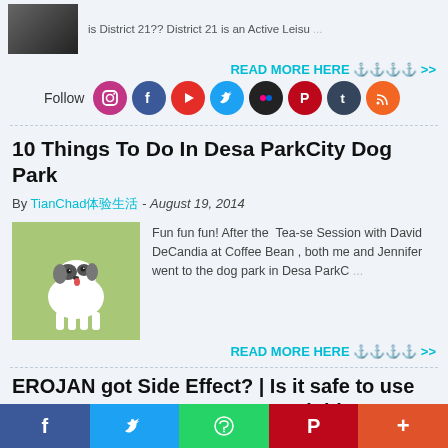is District 21?? District 21 is an Active Leisu...
READ MORE HERE ⚓⚓⚓⚓ >>
Follow
10 Things To Do In Desa ParkCity Dog Park
By TianChad五星大评 - August 19, 2014
[Figure (photo): Small white and black chihuahua dog running on grass]
Fun fun fun! After the Tea-se Session with David DeCandia at Coffee Bean , both me and Jennifer went to the dog park in Desa ParkC...
READ MORE HERE ⚓⚓⚓⚓ >>
EROJAN got Side Effect? | Is it safe to use as Testosterone Booster? Read this
f  🐦  (whatsapp)  P  +